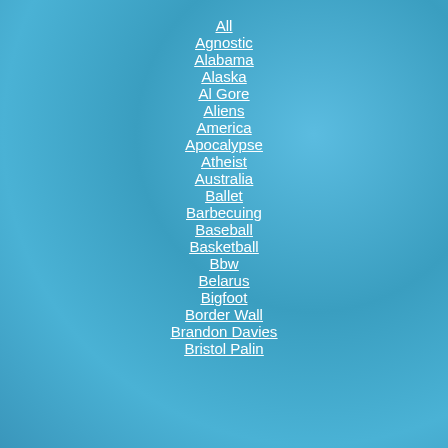All
Agnostic
Alabama
Alaska
Al Gore
Aliens
America
Apocalypse
Atheist
Australia
Ballet
Barbecuing
Baseball
Basketball
Bbw
Belarus
Bigfoot
Border Wall
Brandon Davies
Bristol Palin